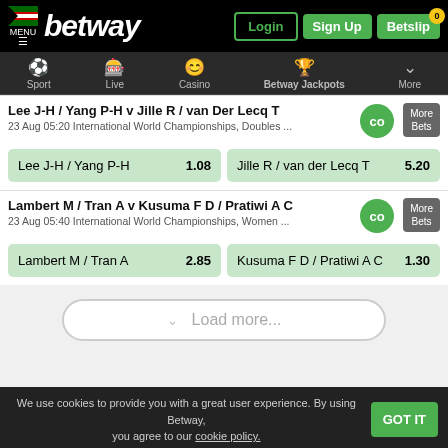[Figure (screenshot): Betway Kenya sports betting mobile app screenshot showing header with logo, navigation bar, two badminton match betting options, load more button, cookie notice, and bottom navigation bar]
Lee J-H / Yang P-H v Jille R / van Der Lecq T
23 Aug 05:20 International World Championships, Doubles ...
Lee J-H / Yang P-H  1.08   Jille R / van der Lecq T  5.20
Lambert M / Tran A v Kusuma F D / Pratiwi A C
23 Aug 05:40 International World Championships, Women ...
Lambert M / Tran A  2.85   Kusuma F D / Pratiwi A C  1.30
Load more...
We use cookies to provide you with a great user experience. By using Betway, you agree to our cookie policy.
GOT IT
Search  My Bets  Sign Up  Inbox  Chat